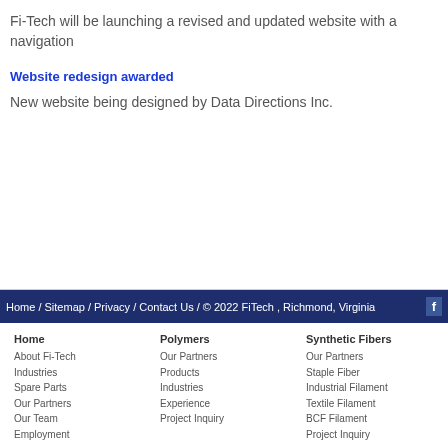Fi-Tech will be launching a revised and updated website with a navigation
Website redesign awarded
New website being designed by Data Directions Inc.
Home / Sitemap / Privacy / Contact Us / © 2022 FiTech , Richmond, Virginia
Home
About Fi-Tech
Industries
Spare Parts
Our Partners
Our Team
Employment
Polymers
Our Partners
Products
Industries
Experience
Project Inquiry
Synthetic Fibers
Our Partners
Staple Fiber
Industrial Filament
Textile Filament
BCF Filament
Project Inquiry